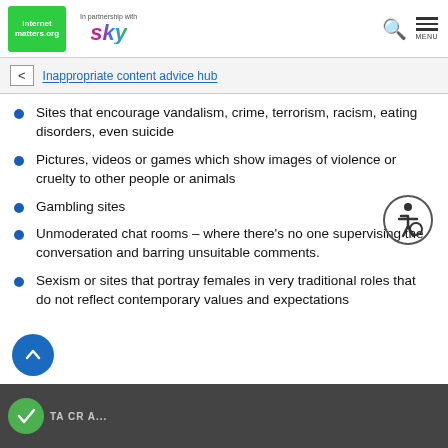internet matters.org | In partnership with sky | MENU
< Inappropriate content advice hub
Sites that encourage vandalism, crime, terrorism, racism, eating disorders, even suicide
Pictures, videos or games which show images of violence or cruelty to other people or animals
Gambling sites
Unmoderated chat rooms – where there's no one supervising the conversation and barring unsuitable comments.
Sexism or sites that portray females in very traditional roles that do not reflect contemporary values and expectations
[Figure (illustration): Accessibility icon — wheelchair user symbol in a circle]
[Figure (photo): Bottom image strip showing group of people, partially visible]